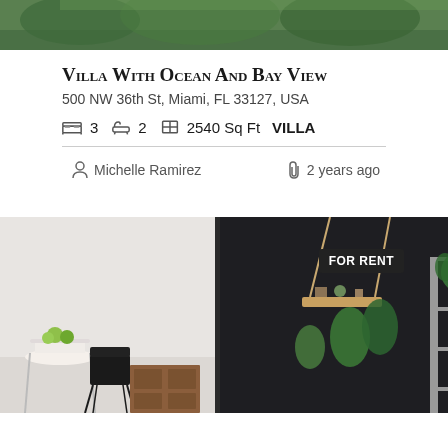[Figure (photo): Aerial or landscape photo of property with green scenery at top]
Villa With Ocean And Bay View
500 NW 36th St, Miami, FL 33127, USA
3 bedrooms  2 bathrooms  2540 Sq Ft  VILLA
Michelle Ramirez   2 years ago
[Figure (photo): Interior room photo showing modern eclectic decor with dark wall, hanging rope shelf, wooden furniture, shelving unit with plants, and a FOR RENT badge]